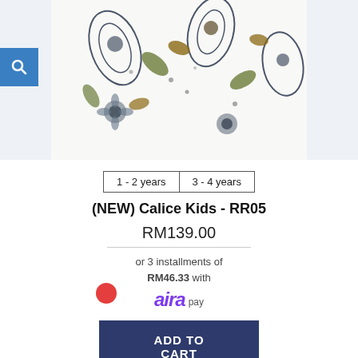[Figure (photo): Partial view of a children's garment with a floral/paisley print pattern in green, brown, and white colors, shown cropped at the top of the page. A blue magnifying glass search icon is visible on the left side.]
1 - 2 years
3 - 4 years
(NEW) Calice Kids - RR05
RM139.00
or 3 installments of RM46.33 with
[Figure (logo): Aira Pay logo in purple text]
ADD TO CART